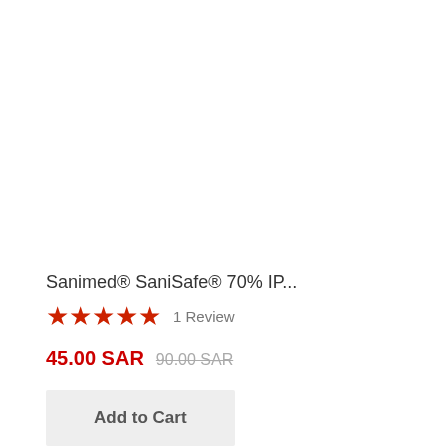Sanimed® SaniSafe® 70% IP...
★★★★★ 1 Review
45.00 SAR  90.00 SAR
Add to Cart